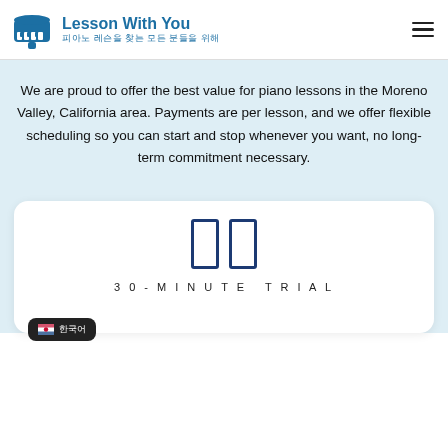[Figure (logo): Lesson With You logo with piano graphic and Korean subtitle text]
Lesson With You
피아노 레슨을 찾는 모든 분들을 위해
We are proud to offer the best value for piano lessons in the Moreno Valley, California area. Payments are per lesson, and we offer flexible scheduling so you can start and stop whenever you want, no long-term commitment necessary.
[Figure (infographic): Card section showing pause icon (two vertical rectangles) and text '30-MINUTE TRIAL' at the bottom, with a Korean flag badge on the lower left]
30-MINUTE TRIAL